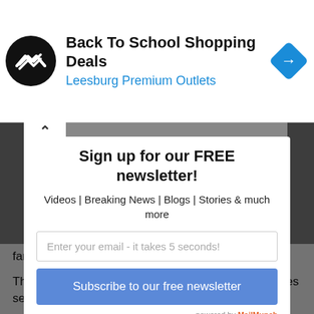[Figure (screenshot): Advertisement banner for Back To School Shopping Deals at Leesburg Premium Outlets, with circular logo and blue diamond navigation icon]
Sign up for our FREE newsletter!
Videos | Breaking News | Blogs | Stories & much more
Enter your email - it takes 5 seconds!
Subscribe to our free newsletter
powered by MailMunch
famous red poppy.
This is the first time that we have NOT had any stories sent into us by our followers about them not being